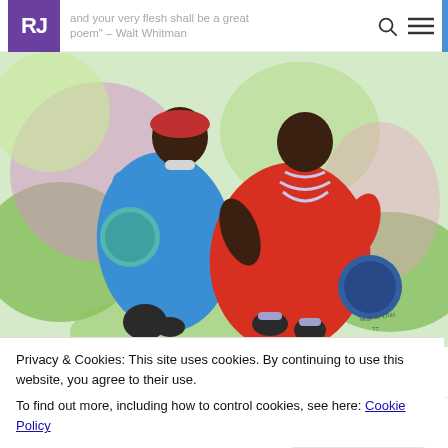RJ | and your very flesh shall be a great poem" – Walt Whitman
[Figure (illustration): Colorful painting of two African dancers in traditional robes (one blue, one red) holding drums, dancing energetically against a colorful background.]
Privacy & Cookies: This site uses cookies. By continuing to use this website, you agree to their use.
To find out more, including how to control cookies, see here: Cookie Policy
Close and accept
around the house like I was killin' it at a